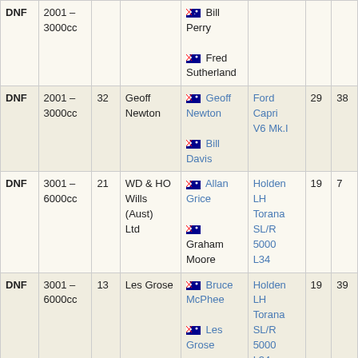| Pos | Class | No | Team | Drivers | Car | Laps | Pts |
| --- | --- | --- | --- | --- | --- | --- | --- |
| DNF | 2001 – 3000cc |  |  | 🇦🇺 Bill Perry
🇦🇺 Fred Sutherland |  |  |  |
| DNF | 2001 – 3000cc | 32 | Geoff Newton | 🇦🇺 Geoff Newton
🇦🇺 Bill Davis | Ford Capri V6 Mk.I | 29 | 38 |
| DNF | 3001 – 6000cc | 21 | WD & HO Wills (Aust) Ltd | 🇦🇺 Allan Grice
🇦🇺 Graham Moore | Holden LH Torana SL/R 5000 L34 | 19 | 7 |
| DNF | 3001 – 6000cc | 13 | Les Grose | 🇦🇺 Bruce McPhee
🇦🇺 Les Grose | Holden LH Torana SL/R 5000 L34 | 19 | 39 |